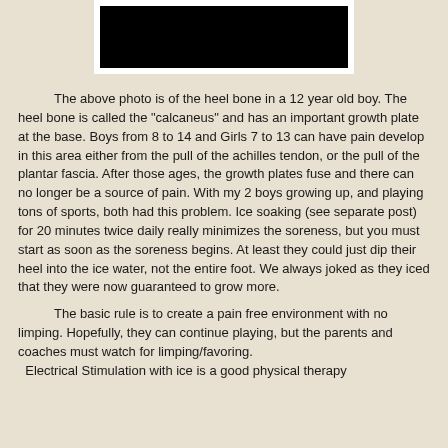[Figure (photo): X-ray or medical image of a heel bone (calcaneus) of a 12 year old boy, shown as a dark/black image with white border framing]
The above photo is of the heel bone in a 12 year old boy. The heel bone is called the "calcaneus" and has an important growth plate at the base. Boys from 8 to 14 and Girls 7 to 13 can have pain develop in this area either from the pull of the achilles tendon, or the pull of the plantar fascia. After those ages, the growth plates fuse and there can no longer be a source of pain. With my 2 boys growing up, and playing tons of sports, both had this problem. Ice soaking (see separate post) for 20 minutes twice daily really minimizes the soreness, but you must start as soon as the soreness begins. At least they could just dip their heel into the ice water, not the entire foot. We always joked as they iced that they were now guaranteed to grow more.
The basic rule is to create a pain free environment with no limping. Hopefully, they can continue playing, but the parents and coaches must watch for limping/favoring. Electrical Stimulation with ice is a good physical therapy